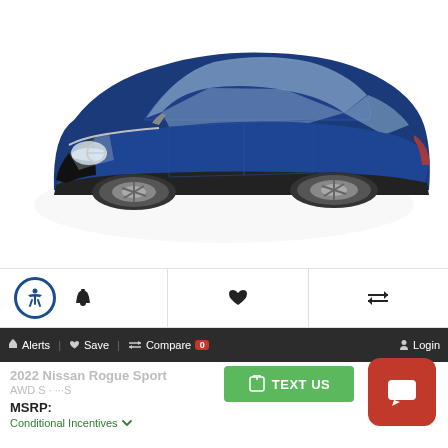[Figure (photo): 2022 Nissan Rogue Sport SUV in dark blue, three-quarter front view on white background]
[Figure (infographic): Icon toolbar with accessibility icon (blue circle with person), bell/alert icon, heart/save icon, and compare arrows icon, separated by vertical dividers]
Alerts  Save  Compare 0  Login
2022 Nissan Rogue Sport
MSRP:
Conditional Incentives ∨
[Figure (infographic): Green TEXT US button with phone/share icon]
[Figure (infographic): Red chat/support button with white chat bubble icon]